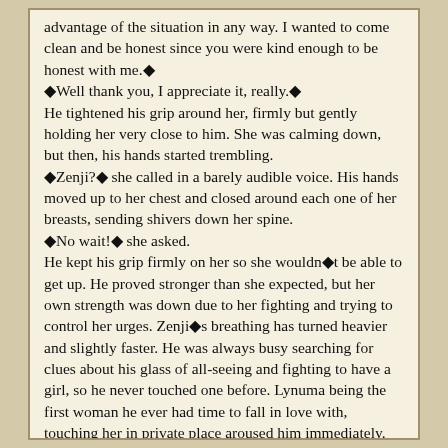advantage of the situation in any way. I wanted to come clean and be honest since you were kind enough to be honest with me.◆ ◆Well thank you, I appreciate it, really.◆ He tightened his grip around her, firmly but gently holding her very close to him. She was calming down, but then, his hands started trembling. ◆Zenji?◆ she called in a barely audible voice. His hands moved up to her chest and closed around each one of her breasts, sending shivers down her spine. ◆No wait!◆ she asked. He kept his grip firmly on her so she wouldn◆t be able to get up. He proved stronger than she expected, but her own strength was down due to her fighting and trying to control her urges. Zenji◆s breathing has turned heavier and slightly faster. He was always busy searching for clues about his glass of all-seeing and fighting to have a girl, so he never touched one before. Lynuma being the first woman he ever had time to fall in love with, touching her in private place aroused him immediately. Pressed against him, she could feel it down her back.